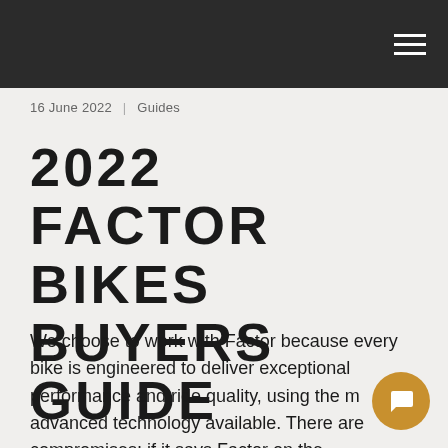16 June 2022  |  Guides
2022 FACTOR BIKES BUYERS GUIDE
We choose to work with Factor because every bike is engineered to deliver exceptional performance and ride quality, using the most advanced technology available. There are no compromises; if it says Factor on the